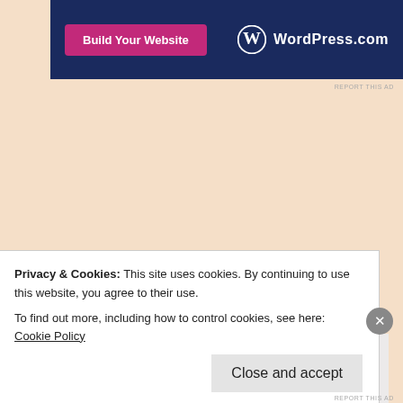[Figure (screenshot): WordPress.com banner advertisement with pink 'Build Your Website' button on dark navy background with WordPress.com logo and wordmark]
REPORT THIS AD
Advertisements
[Figure (logo): WordPress logo (circle W icon) on light grey advertisement background]
Need a website
Privacy & Cookies: This site uses cookies. By continuing to use this website, you agree to their use.
To find out more, including how to control cookies, see here: Cookie Policy
Close and accept
REPORT THIS AD